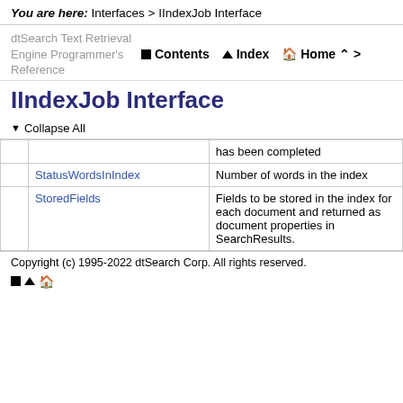You are here: Interfaces > IIndexJob Interface
dtSearch Text Retrieval Engine Programmer's Reference
IIndexJob Interface
▲ Collapse All
|  |  | Description |
| --- | --- | --- |
|  |  | has been completed |
|  | StatusWordsInIndex | Number of words in the index |
|  | StoredFields | Fields to be stored in the index for each document and returned as document properties in SearchResults. |
Copyright (c) 1995-2022 dtSearch Corp. All rights reserved.